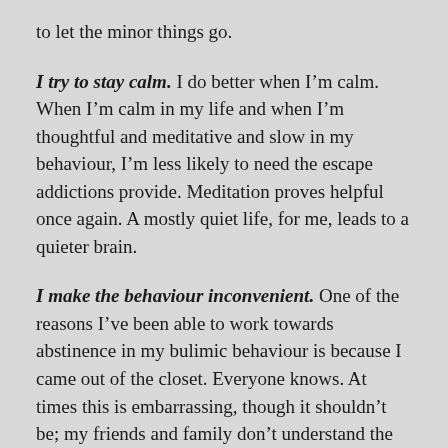to let the minor things go.
I try to stay calm. I do better when I'm calm. When I'm calm in my life and when I'm thoughtful and meditative and slow in my behaviour, I'm less likely to need the escape addictions provide. Meditation proves helpful once again. A mostly quiet life, for me, leads to a quieter brain.
I make the behaviour inconvenient. One of the reasons I've been able to work towards abstinence in my bulimic behaviour is because I came out of the closet. Everyone knows. At times this is embarrassing, though it shouldn't be; my friends and family don't understand the details; the incidents that horrify me so much in retrospect are not only ones they don't know about but scenarios they could never imagine. But because they know about the eating disorder, they watch me. Or at least, I perceive